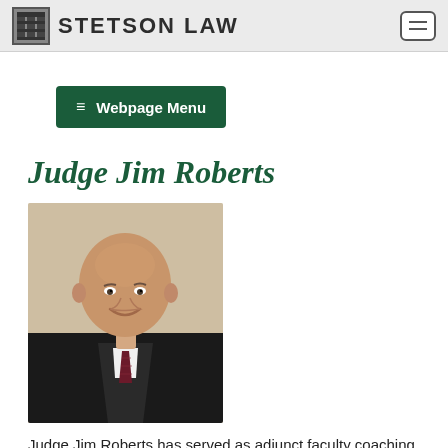STETSON LAW
≡ Webpage Menu
Judge Jim Roberts
[Figure (photo): Portrait photo of Judge Jim Roberts wearing black judicial robes with a white shirt and dark red striped tie, smiling at camera, bald, middle-aged man]
Judge Jim Roberts has served as adjunct faculty coaching Cumberland School of Law's National Trial Teams for the last 23 years and as the head